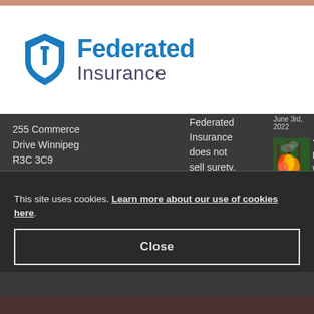[Figure (logo): Federated Insurance logo with shield icon in blue and company name]
255 Commerce Drive Winnipeg R3C 3C9
1.844.628.6800
204.783.4443
info@federated.ca
Federated Insurance does not sell surety, personal, legal expense, life or health insurance...
June 3rd, 2022
[Figure (photo): Wildfire/forest fire photo showing flames and smoke]
Yo bu w pl sh in th sa
This site uses cookies. Learn more about our use of cookies here.
Close